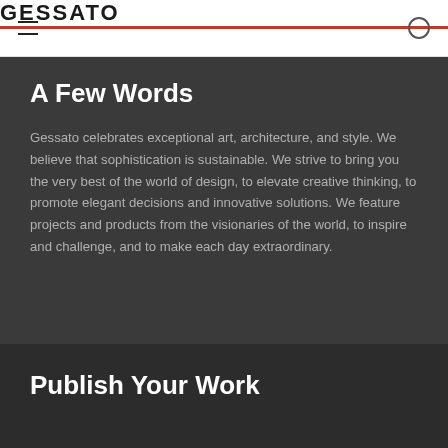GESSATO
A Few Words
Gessato celebrates exceptional art, architecture, and style. We believe that sophistication is sustainable. We strive to bring you the very best of the world of design, to elevate creative thinking, to promote elegant decisions and innovative solutions. We feature projects and products from the visionaries of the world, to inspire and challenge, and to make each day extraordinary.
Publish Your Work